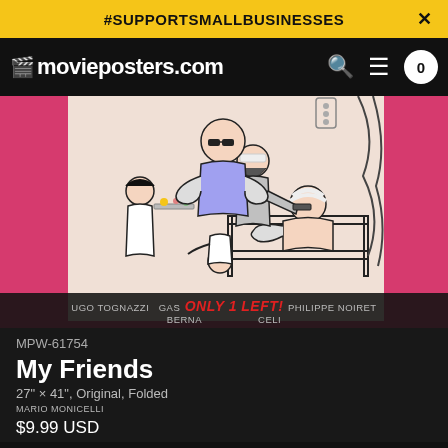#SUPPORTSMALLBUSINESSES
movieposters.com
[Figure (screenshot): Movie poster illustration for 'My Friends' showing cartoon-style figures in a hospital room setting with pink background]
MPW-61754
UGO TOGNAZZI GASMAN PHILIPPE NOIRET BERNABO CELI
Only 1 Left!
My Friends
27" × 41", Original, Folded
MARIO MONICELLI
$9.99 USD